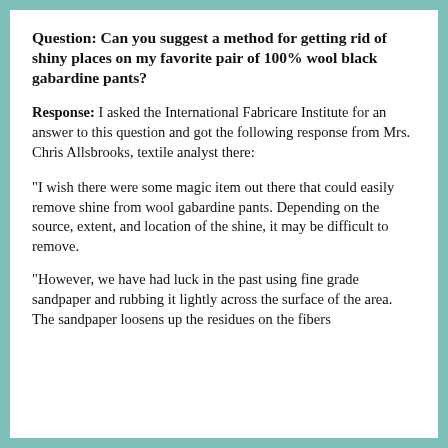Question: Can you suggest a method for getting rid of shiny places on my favorite pair of 100% wool black gabardine pants?
Response: I asked the International Fabricare Institute for an answer to this question and got the following response from Mrs. Chris Allsbrooks, textile analyst there:
"I wish there were some magic item out there that could easily remove shine from wool gabardine pants. Depending on the source, extent, and location of the shine, it may be difficult to remove.
"However, we have had luck in the past using fine grade sandpaper and rubbing it lightly across the surface of the area. The sandpaper loosens up the residues on the fibers